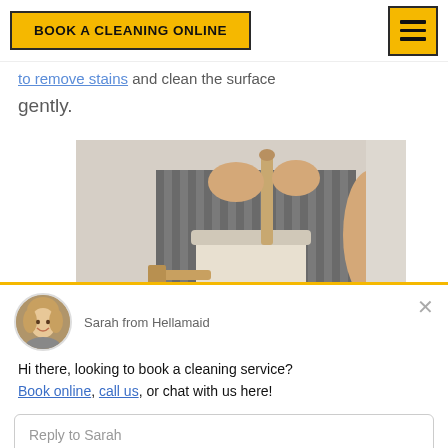BOOK A CLEANING ONLINE
to remove stains and clean the surface gently.
[Figure (photo): Person using a brush to scrub inside a white container, wearing a grey striped apron]
Sarah from Hellamaid
Hi there, looking to book a cleaning service? Book online, call us, or chat with us here!
Reply to Sarah
Chat ⚡ by Drift